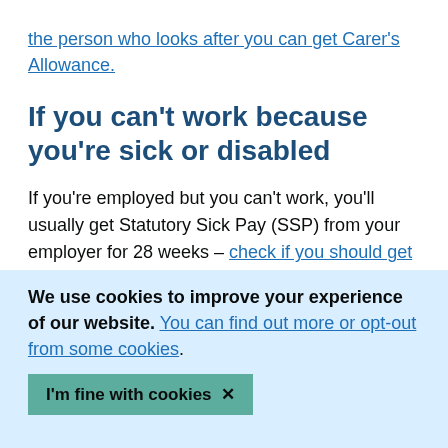the person who looks after you can get Carer's Allowance.
If you can't work because you're sick or disabled
If you're employed but you can't work, you'll usually get Statutory Sick Pay (SSP) from your employer for 28 weeks – check if you should get SSP.
You should check if you can get Employment and Support Allowance (ESA) if:
We use cookies to improve your experience of our website. You can find out more or opt-out from some cookies.
I'm fine with cookies ✕